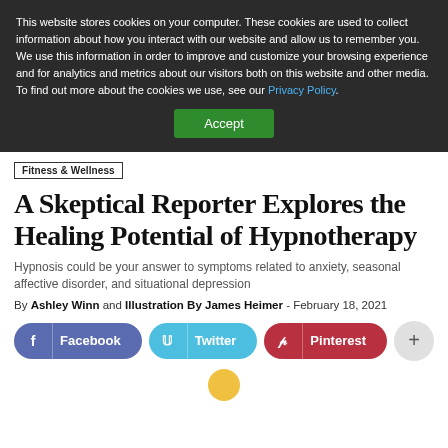This website stores cookies on your computer. These cookies are used to collect information about how you interact with our website and allow us to remember you. We use this information in order to improve and customize your browsing experience and for analytics and metrics about our visitors both on this website and other media. To find out more about the cookies we use, see our Privacy Policy.
Accept
Fitness & Wellness
A Skeptical Reporter Explores the Healing Potential of Hypnotherapy
Hypnosis could be your answer to symptoms related to anxiety, seasonal affective disorder, and situational depression
By Ashley Winn and Illustration By James Heimer - February 18, 2021
Facebook
Twitter
Pinterest
+